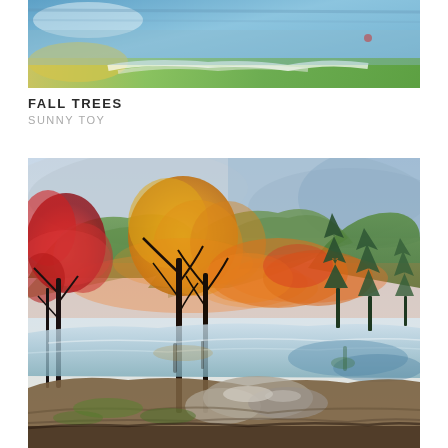[Figure (illustration): Top portion of a watercolor painting showing a colorful landscape with blue sky, green and yellow areas, white highlights suggesting snow or light, and a thin strip of scenery.]
FALL TREES
SUNNY TOY
[Figure (illustration): Watercolor painting of fall trees in an autumn landscape. Features trees with red and orange foliage on the left, bare-branched trees with yellow-orange leaves in the center, green mountains in the background, tall dark evergreen trees on the right, a reflective lake or river in the middle ground, rocks and earth in the foreground, with warm orange and red hues throughout.]